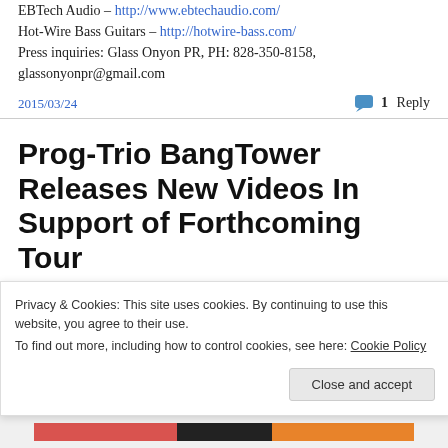EBTech Audio – http://www.ebtechaudio.com/
Hot-Wire Bass Guitars – http://hotwire-bass.com/
Press inquiries: Glass Onyon PR, PH: 828-350-8158, glassonyonpr@gmail.com
2015/03/24
1 Reply
Prog-Trio BangTower Releases New Videos In Support of Forthcoming Tour
Privacy & Cookies: This site uses cookies. By continuing to use this website, you agree to their use.
To find out more, including how to control cookies, see here: Cookie Policy
Close and accept